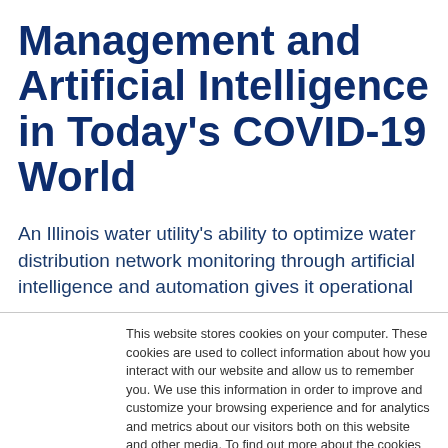Management and Artificial Intelligence in Today's COVID-19 World
An Illinois water utility's ability to optimize water distribution network monitoring through artificial intelligence and automation gives it operational
This website stores cookies on your computer. These cookies are used to collect information about how you interact with our website and allow us to remember you. We use this information in order to improve and customize your browsing experience and for analytics and metrics about our visitors both on this website and other media. To find out more about the cookies we use, see our Privacy Policy
Accept